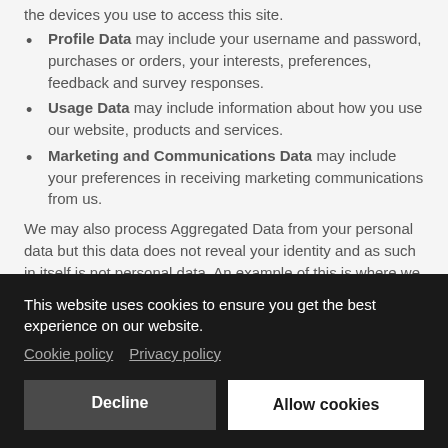the devices you use to access this site.
Profile Data may include your username and password, purchases or orders, your interests, preferences, feedback and survey responses.
Usage Data may include information about how you use our website, products and services.
Marketing and Communications Data may include your preferences in receiving marketing communications from us.
We may also process Aggregated Data from your personal data but this data does not reveal your identity and as such in itself is not personal data. An example of this is where we review your Usage Data to work out the percentage of website users using a … gated … data.
This website uses cookies to ensure you get the best experience on our website. Cookie policy  Privacy policy
Decline  Allow cookies
s … phical beliefs, sex life, sexual orientation, political opinions, trade union membership, information about your